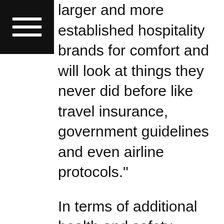[Figure (other): Hamburger menu icon — three horizontal white lines on a black square background]
larger and more established hospitality brands for comfort and will look at things they never did before like travel insurance, government guidelines and even airline protocols."
In terms of additional health and safety protocols, he said much of what is being implemented is happening back of house.
“Stricter protocols are being put in place that will force operators to look at additional staffing, additional cost, and elaborate, time consuming processes to ensure the safety of guests and employees,” Maduro said. “We have to make sure our enhanced